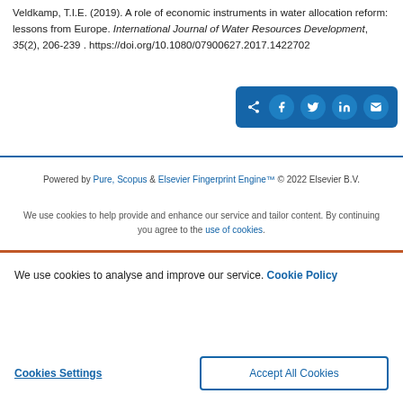Veldkamp, T.I.E. (2019). A role of economic instruments in water allocation reform: lessons from Europe. International Journal of Water Resources Development, 35(2), 206-239. https://doi.org/10.1080/07900627.2017.1422702
[Figure (other): Social sharing bar with icons for share, Facebook, Twitter, LinkedIn, and email on a blue background]
Powered by Pure, Scopus & Elsevier Fingerprint Engine™ © 2022 Elsevier B.V.
We use cookies to help provide and enhance our service and tailor content. By continuing you agree to the use of cookies.
We use cookies to analyse and improve our service. Cookie Policy
Cookies Settings
Accept All Cookies